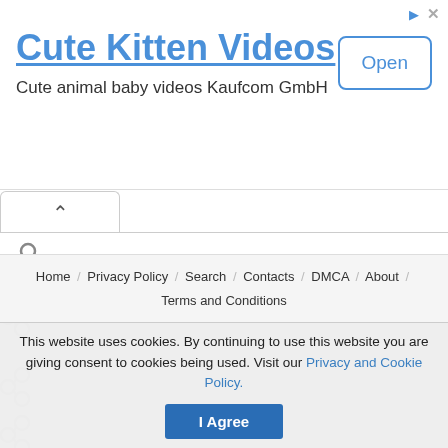[Figure (screenshot): Advertisement banner for Cute Kitten Videos app with title, subtitle, and Open button]
Cute Kitten Videos
Cute animal baby videos Kaufcom GmbH
[Figure (screenshot): Navigation tab bar with up caret chevron icon]
[Figure (screenshot): Multiple share/link icons arranged vertically on left side of page]
Home / Privacy Policy / Search / Contacts / DMCA / About / Terms and Conditions
This website uses cookies. By continuing to use this website you are giving consent to cookies being used. Visit our Privacy and Cookie Policy.